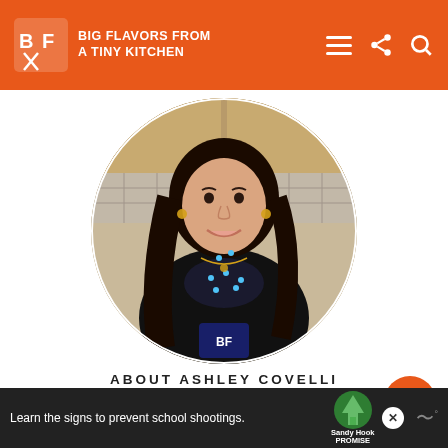BIG FLAVORS FROM A TINY KITCHEN
[Figure (photo): Circular profile photo of Ashley Covelli, a woman with long dark hair wearing a black apron with BF logo, smiling in front of a kitchen background]
ABOUT ASHLEY COVELLI
Ashley has been helping people gain confidence in the kitchen through approachable recipes, classes, and
[Figure (other): WHAT'S NEXT arrow label with thumbnail image and text: Roasted Shrimp with...]
[Figure (other): Advertisement banner: Learn the signs to prevent school shootings. Sandy Hook Promise logo.]